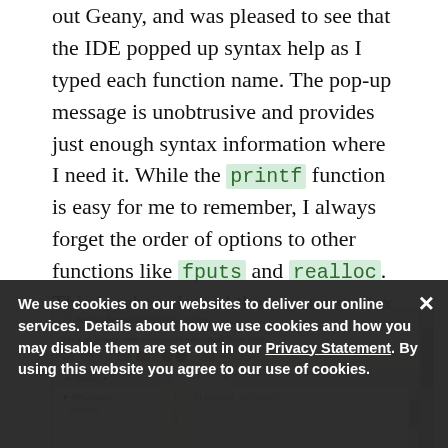I started a simple 'hello world' program to test out Geany, and was pleased to see that the IDE popped up syntax help as I typed each function name. The pop-up message is unobtrusive and provides just enough syntax information where I need it. While the printf function is easy for me to remember, I always forget the order of options to other functions like fputs and realloc. This is where I need the pop-up syntax help.
[Figure (screenshot): Screenshot of Geany IDE showing a C source file with #include <stdio.h> visible, with file tree showing Functions and main() in the sidebar.]
We use cookies on our websites to deliver our online services. Details about how we use cookies and how you may disable them are set out in our Privacy Statement. By using this website you agree to our use of cookies.